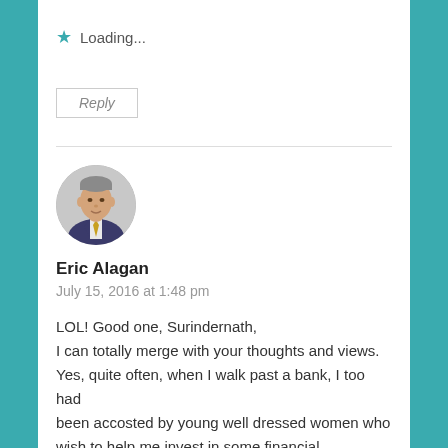★ Loading...
Reply
Eric Alagan
July 15, 2016 at 1:48 pm
[Figure (photo): Circular avatar photo of a middle-aged man in a suit with a tie]
LOL! Good one, Surindernath,
I can totally merge with your thoughts and views.
Yes, quite often, when I walk past a bank, I too had been accosted by young well dressed women who wish to help me invest in some financial instrument or